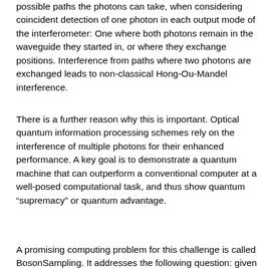possible paths the photons can take, when considering coincident detection of one photon in each output mode of the interferometer: One where both photons remain in the waveguide they started in, or where they exchange positions. Interference from paths where two photons are exchanged leads to non-classical Hong-Ou-Mandel interference.
There is a further reason why this is important. Optical quantum information processing schemes rely on the interference of multiple photons for their enhanced performance. A key goal is to demonstrate a quantum machine that can outperform a conventional computer at a well-posed computational task, and thus show quantum “supremacy” or quantum advantage.
A promising computing problem for this challenge is called BosonSampling. It addresses the following question: given N non-interacting bosons at the input of an M-port random network (where M > N²), what is the distribution of the bosons measured at the output ports? It turns out that the probability of each possible measurement outcome is related to the permanent of the complex-valued transfer matrix that describes the relevant network section. Furthermore, estimating such matrix permanents is known to be a hard